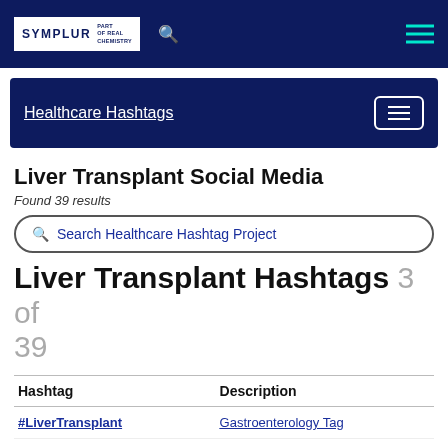SYMPLUR PART OF REAL CHEMISTRY
Healthcare Hashtags
Liver Transplant Social Media
Found 39 results
Search Healthcare Hashtag Project
Liver Transplant Hashtags 3 of 39
| Hashtag | Description |
| --- | --- |
| #LiverTransplant | Gastroenterology Tag |